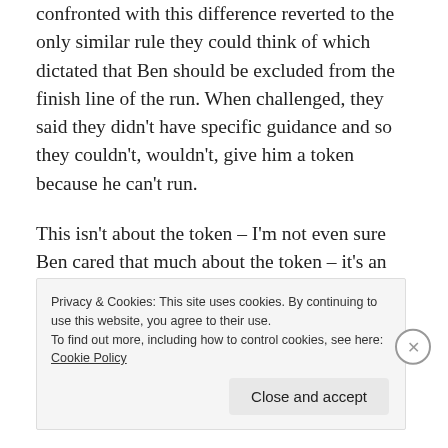confronted with this difference reverted to the only similar rule they could think of which dictated that Ben should be excluded from the finish line of the run. When challenged, they said they didn't have specific guidance and so they couldn't, wouldn't, give him a token because he can't run.
This isn't about the token – I'm not even sure Ben cared that much about the token – it's an exemplar about what some people do when faced with an unfamiliar situation. Rather than thinking 'oh, how can we include this person', they think, 'oh, he can't run, so we won't
Privacy & Cookies: This site uses cookies. By continuing to use this website, you agree to their use.
To find out more, including how to control cookies, see here: Cookie Policy
Close and accept